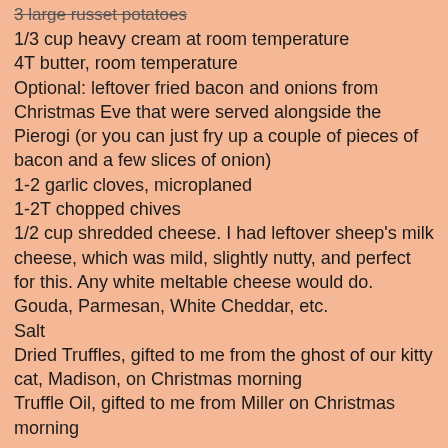3 large russet potatoes
1/3 cup heavy cream at room temperature
4T butter, room temperature
Optional: leftover fried bacon and onions from Christmas Eve that were served alongside the Pierogi (or you can just fry up a couple of pieces of bacon and a few slices of onion)
1-2 garlic cloves, microplaned
1-2T chopped chives
1/2 cup shredded cheese. I had leftover sheep's milk cheese, which was mild, slightly nutty, and perfect for this. Any white meltable cheese would do. Gouda, Parmesan, White Cheddar, etc.
Salt
Dried Truffles, gifted to me from the ghost of our kitty cat, Madison, on Christmas morning
Truffle Oil, gifted to me from Miller on Christmas morning
Peel the potatoes, cut them into thirds, and place them in a saucepan of cold water. Add a couple of teaspoons of salt, and bring to a boil. Meanwhile, hydrate about a tablespoon of dried truffles in lukewarm water until just covered. Once they are soft and pliable, chop finely and set aside. Save the truffle infused water - it's like pasta!